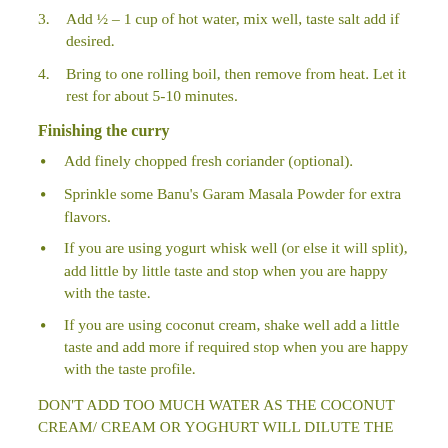3. Add ½ – 1 cup of hot water, mix well, taste salt add if desired.
4. Bring to one rolling boil, then remove from heat. Let it rest for about 5-10 minutes.
Finishing the curry
Add finely chopped fresh coriander (optional).
Sprinkle some Banu's Garam Masala Powder for extra flavors.
If you are using yogurt whisk well (or else it will split), add little by little taste and stop when you are happy with the taste.
If you are using coconut cream, shake well add a little taste and add more if required stop when you are happy with the taste profile.
DON'T ADD TOO MUCH WATER AS THE COCONUT CREAM/ CREAM OR YOGHURT WILL DILUTE THE